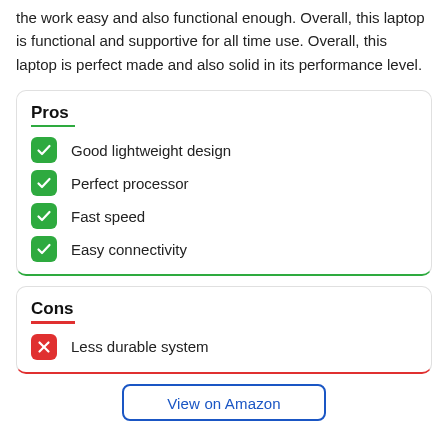the work easy and also functional enough. Overall, this laptop is functional and supportive for all time use. Overall, this laptop is perfect made and also solid in its performance level.
Pros
Good lightweight design
Perfect processor
Fast speed
Easy connectivity
Cons
Less durable system
View on Amazon